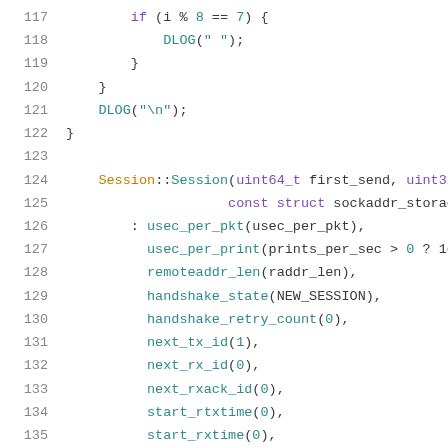Code listing lines 117-137 showing C++ source code for a Session class constructor and a debug logging loop.